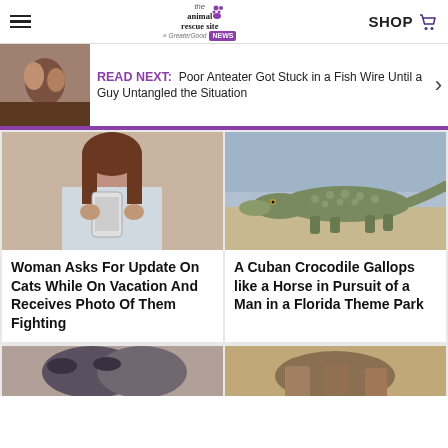the animal rescue site · GreaterGood · NEWS | SHOP
READ NEXT: Poor Anteater Got Stuck in a Fish Wire Until a Guy Untangled the Situation
[Figure (photo): Photo of an anteater]
[Figure (photo): Photo of a woman holding a phone]
Woman Asks For Update On Cats While On Vacation And Receives Photo Of Them Fighting
[Figure (photo): Photo of a Cuban crocodile]
A Cuban Crocodile Gallops like a Horse in Pursuit of a Man in a Florida Theme Park
[Figure (photo): Photo of a cat – bottom strip left]
[Figure (photo): Photo – bottom strip right]